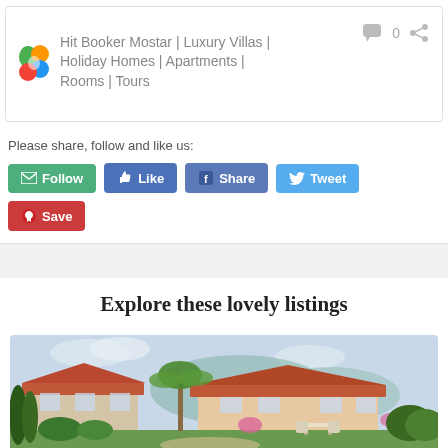Hit Booker Mostar | Luxury Villas | Holiday Homes | Apartments | Rooms | Tours
Please share, follow and like us:
[Figure (screenshot): Social sharing buttons: Follow (green), Like (blue), Share (Facebook blue), Tweet (Twitter blue), Save (Pinterest red)]
Explore these lovely listings
[Figure (photo): Exterior photo of a holiday home with red tile roof, palm tree, garden, and patio furniture under a partly cloudy sky]